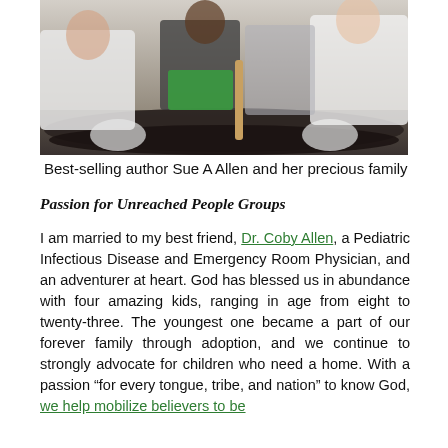[Figure (photo): A family group photo outdoors. People sitting together, one wearing green shorts, one in a white shirt, one in a white tank top and denim skirt.]
Best-selling author Sue A Allen and her precious family
Passion for Unreached People Groups
I am married to my best friend, Dr. Coby Allen, a Pediatric Infectious Disease and Emergency Room Physician, and an adventurer at heart. God has blessed us in abundance with four amazing kids, ranging in age from eight to twenty-three. The youngest one became a part of our forever family through adoption, and we continue to strongly advocate for children who need a home. With a passion “for every tongue, tribe, and nation” to know God, we help mobilize believers to be